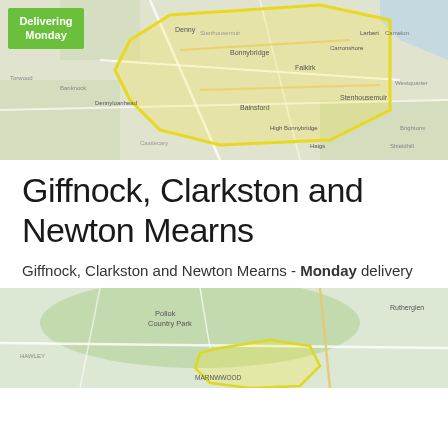[Figure (map): Google Maps view showing a delivery zone outlined in yellow covering an area including Denny, Bonnybridge, Falkirk, and surrounding areas in Scotland. A green 'Delivering Monday' badge is shown in the top-left corner.]
Giffnock, Clarkston and Newton Mearns
Giffnock, Clarkston and Newton Mearns - Monday delivery
[Figure (map): Google Maps view showing a delivery zone outlined in yellow covering Giffnock, Clarkston and Newton Mearns area near Glasgow, with Pollok Country Park visible to the north. Rutherglen visible on the right edge.]